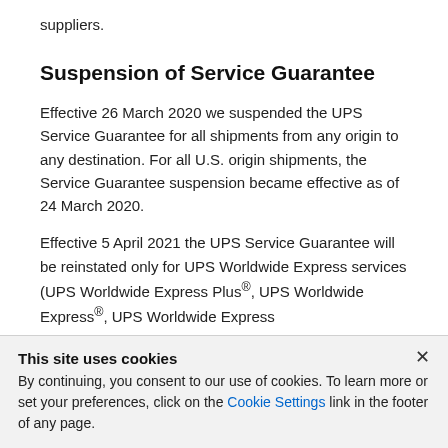suppliers.
Suspension of Service Guarantee
Effective 26 March 2020 we suspended the UPS Service Guarantee for all shipments from any origin to any destination. For all U.S. origin shipments, the Service Guarantee suspension became effective as of 24 March 2020.
Effective 5 April 2021 the UPS Service Guarantee will be reinstated only for UPS Worldwide Express services (UPS Worldwide Express Plus®, UPS Worldwide Express®, UPS Worldwide Express
This site uses cookies
By continuing, you consent to our use of cookies. To learn more or set your preferences, click on the Cookie Settings link in the footer of any page.